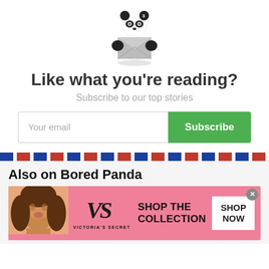[Figure (illustration): Cute panda cartoon character holding a gray envelope/mail]
Like what you're reading?
Subscribe to our top stories
Your email  Subscribe
Also on Bored Panda
[Figure (screenshot): Victoria's Secret advertisement banner with model, VS logo, and 'SHOP THE COLLECTION' text with 'SHOP NOW' button]